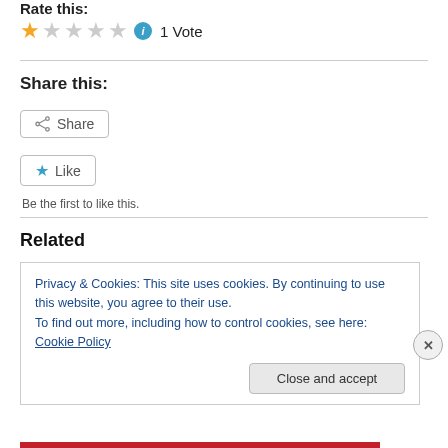Rate this:
[Figure (other): Star rating widget showing 1 out of 5 stars (one gold star, four grey stars), an info icon, and the text '1 Vote']
Share this:
[Figure (other): Share button with share icon and label 'Share']
[Figure (other): Like button with blue star icon and label 'Like']
Be the first to like this.
Related
Privacy & Cookies: This site uses cookies. By continuing to use this website, you agree to their use.
To find out more, including how to control cookies, see here: Cookie Policy
Close and accept